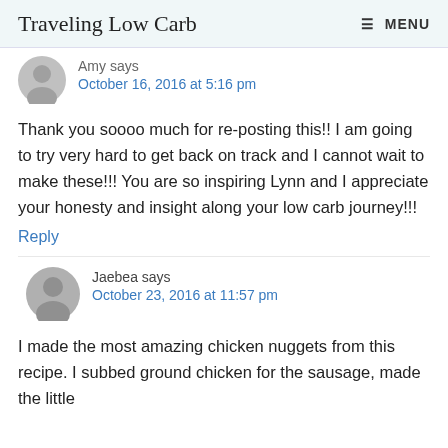Traveling Low Carb   MENU
Amy says
October 16, 2016 at 5:16 pm
Thank you soooo much for re-posting this!! I am going to try very hard to get back on track and I cannot wait to make these!!! You are so inspiring Lynn and I appreciate your honesty and insight along your low carb journey!!!
Reply
Jaebea says
October 23, 2016 at 11:57 pm
I made the most amazing chicken nuggets from this recipe. I subbed ground chicken for the sausage, made the little